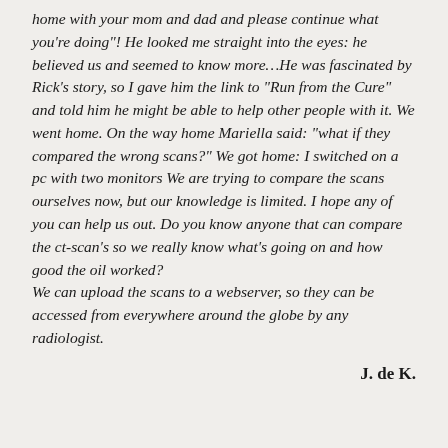home with your mom and dad and please continue what you're doing"! He looked me straight into the eyes: he believed us and seemed to know more…He was fascinated by Rick's story, so I gave him the link to "Run from the Cure" and told him he might be able to help other people with it. We went home. On the way home Mariella said: "what if they compared the wrong scans?" We got home: I switched on a pc with two monitors We are trying to compare the scans ourselves now, but our knowledge is limited. I hope any of you can help us out. Do you know anyone that can compare the ct-scan's so we really know what's going on and how good the oil worked? We can upload the scans to a webserver, so they can be accessed from everywhere around the globe by any radiologist.
J. de K.